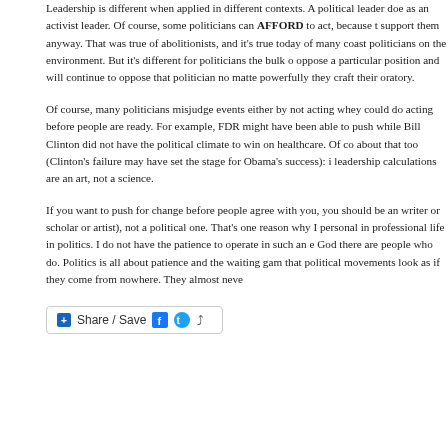Leadership is different when applied in different contexts. A political leader doe as an activist leader. Of course, some politicians can AFFORD to act, because t support them anyway. That was true of abolitionists, and it's true today of many coast politicians on the environment. But it's different for politicians the bulk o oppose a particular position and will continue to oppose that politician no matte powerfully they craft their oratory.
Of course, many politicians misjudge events either by not acting whey could do acting before people are ready. For example, FDR might have been able to push while Bill Clinton did not have the political climate to win on healthcare. Of co about that too (Clinton's failure may have set the stage for Obama's success): i leadership calculations are an art, not a science.
If you want to push for change before people agree with you, you should be an writer or scholar or artist), not a political one. That's one reason why I personal in professional life in politics. I do not have the patience to operate in such an e God there are people who do. Politics is all about patience and the waiting gam that political movements look as if they come from nowhere. They almost neve
[Figure (other): Share / Save button with Facebook, Twitter, and share icons]